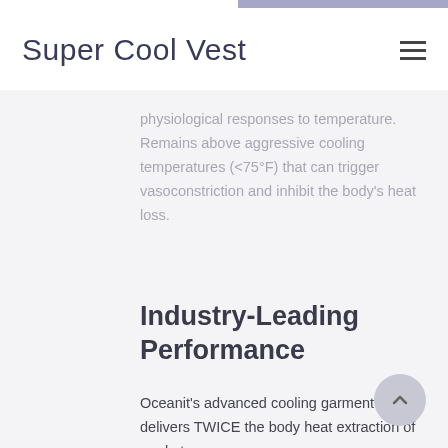Super Cool Vest
physiological responses to temperature. Remains above aggressive cooling temperatures (<75°F) that can trigger vasoconstriction and inhibit the body's heat loss.
Industry-Leading Performance
Oceanit's advanced cooling garment delivers TWICE the body heat extraction of market-